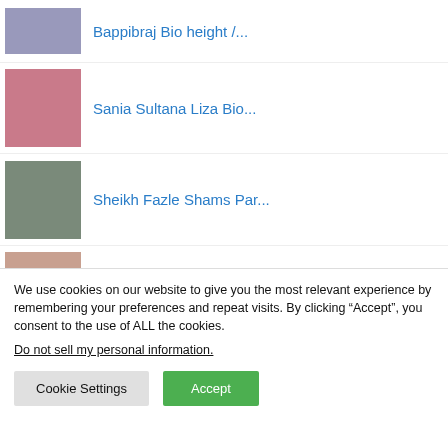Bappibraj Bio... (truncated, top partial)
Sania Sultana Liza Bio...
Sheikh Fazle Shams Par...
Alexandra Steele Bio...
We use cookies on our website to give you the most relevant experience by remembering your preferences and repeat visits. By clicking “Accept”, you consent to the use of ALL the cookies.
Do not sell my personal information.